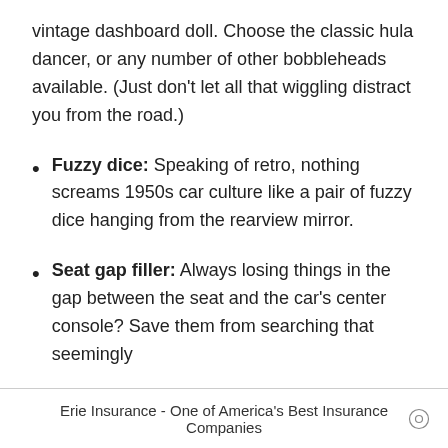vintage dashboard doll. Choose the classic hula dancer, or any number of other bobbleheads available. (Just don’t let all that wiggling distract you from the road.)
Fuzzy dice: Speaking of retro, nothing screams 1950s car culture like a pair of fuzzy dice hanging from the rearview mirror.
Seat gap filler: Always losing things in the gap between the seat and the car’s center console? Save them from searching that seemingly
Erie Insurance - One of America's Best Insurance Companies